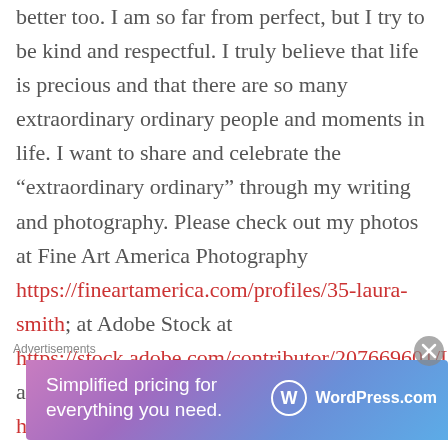better too. I am so far from perfect, but I try to be kind and respectful. I truly believe that life is precious and that there are so many extraordinary ordinary people and moments in life. I want to share and celebrate the “extraordinary ordinary” through my writing and photography. Please check out my photos at Fine Art America Photography https://fineartamerica.com/profiles/35-laura-smith; at Adobe Stock at https://stock.adobe.com/contributor/207669601/La... at Shutterstock https://www.shutterstock.com/g/LauraJ...
Advertisements
[Figure (illustration): WordPress.com advertisement banner with gradient background (pink to blue), text 'Simplified pricing for everything you need.' and WordPress.com logo on the right.]